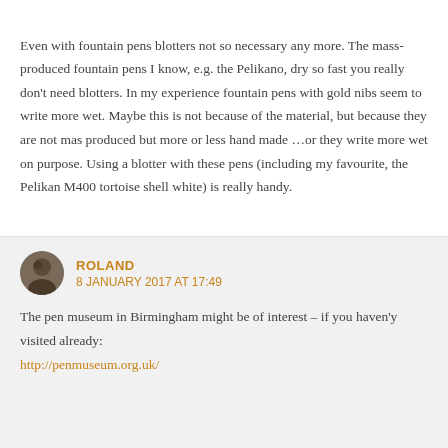Even with fountain pens blotters not so necessary any more. The mass-produced fountain pens I know, e.g. the Pelikano, dry so fast you really don't need blotters. In my experience fountain pens with gold nibs seem to write more wet. Maybe this is not because of the material, but because they are not mas produced but more or less hand made …or they write more wet on purpose. Using a blotter with these pens (including my favourite, the Pelikan M400 tortoise shell white) is really handy.
ROLAND
8 JANUARY 2017 AT 17:49
The pen museum in Birmingham might be of interest – if you haven'y visited already:
http://penmuseum.org.uk/